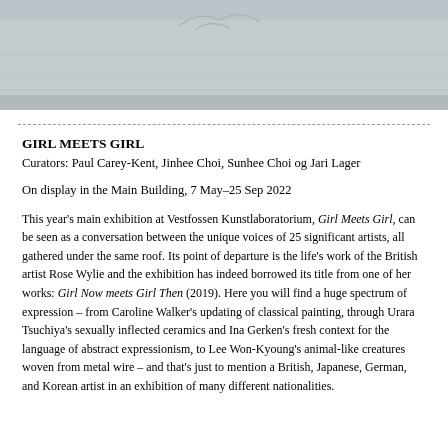[Figure (photo): A partial photograph showing what appears to be a light-colored floor or surface with faint lines or markings, possibly an interior of a building or artwork on a floor.]
GIRL MEETS GIRL
Curators: Paul Carey-Kent, Jinhee Choi, Sunhee Choi og Jari Lager
On display in the Main Building, 7 May–25 Sep 2022
This year's main exhibition at Vestfossen Kunstlaboratorium, Girl Meets Girl, can be seen as a conversation between the unique voices of 25 significant artists, all gathered under the same roof. Its point of departure is the life's work of the British artist Rose Wylie and the exhibition has indeed borrowed its title from one of her works: Girl Now meets Girl Then (2019). Here you will find a huge spectrum of expression – from Caroline Walker's updating of classical painting, through Urara Tsuchiya's sexually inflected ceramics and Ina Gerken's fresh context for the language of abstract expressionism, to Lee Won-Kyoung's animal-like creatures woven from metal wire – and that's just to mention a British, Japanese, German, and Korean artist in an exhibition of many different nationalities.